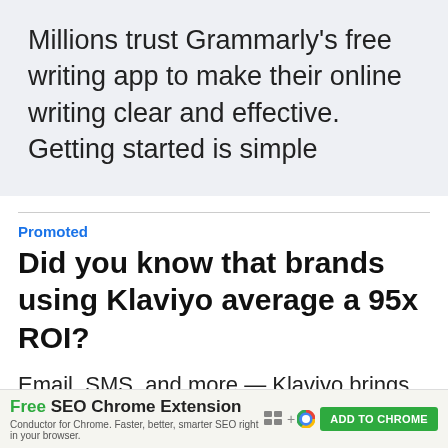Millions trust Grammarly's free writing app to make their online writing clear and effective. Getting started is simple
Promoted
Did you know that brands using Klaviyo average a 95x ROI?
Email, SMS, and more — Klaviyo brings your marketing all together, fueling growth without burning through time and resources.
Free SEO Chrome Extension — Conductor for Chrome. Faster, better, smarter SEO right in your browser. ADD TO CHROME